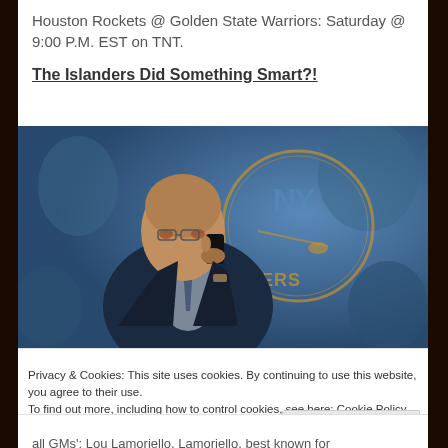Houston Rockets @ Golden State Warriors: Saturday @ 9:00 P.M. EST on TNT.
The Islanders Did Something Smart?!
[Figure (photo): Man in dark suit talking on a mobile phone against a blue-tinted background with New York Islanders logo visible]
Privacy & Cookies: This site uses cookies. By continuing to use this website, you agree to their use.
To find out more, including how to control cookies, see here: Cookie Policy
all GMs'; Lou Lamoriello. Lamoriello, best known for